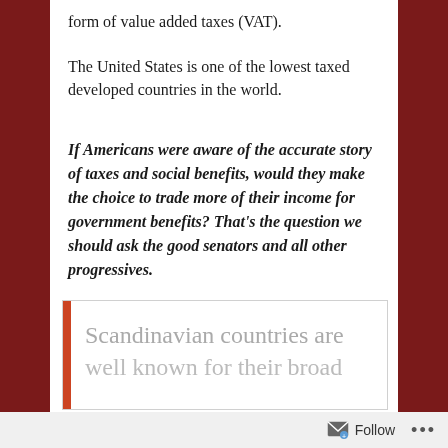form of value added taxes (VAT).
The United States is one of the lowest taxed developed countries in the world.
If Americans were aware of the accurate story of taxes and social benefits, would they make the choice to trade more of their income for government benefits? That’s the question we should ask the good senators and all other progressives.
Scandinavian countries are well known for their broad